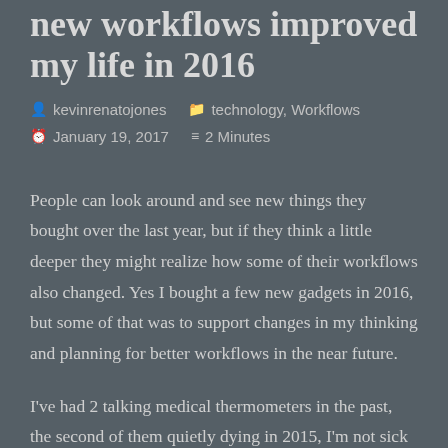new workflows improved my life in 2016
kevinrenatojones   technology, Workflows
January 19, 2017   2 Minutes
People can look around and see new things they bought over the last year, but if they think a little deeper they might realize how some of their workflows also changed. Yes I bought a few new gadgets in 2016, but some of that was to support changes in my thinking and planning for better workflows in the near future.
I've had 2 talking medical thermometers in the past, the second of them quietly dying in 2015, I'm not sick often